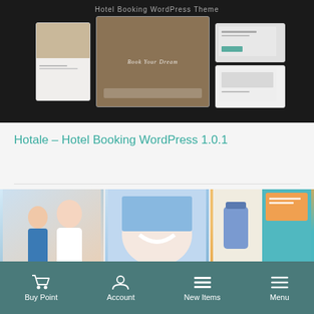[Figure (screenshot): Hotel Booking WordPress Theme screenshots showing multiple device mockups with hotel website designs on dark background]
Hotale – Hotel Booking WordPress 1.0.1
[Figure (screenshot): ProMedica Medical and Healthcare Theme screenshots showing medical/healthcare website designs in a grid layout with ProMedica branding banner and Premium Images Included badge]
Buy Point  Account  New Items  Menu